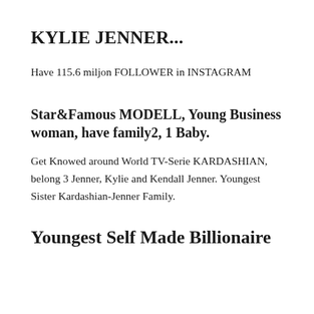KYLIE JENNER...
Have 115.6 miljon FOLLOWER in INSTAGRAM
Star&Famous MODELL, Young Business woman, have family2, 1 Baby.
Get Knowed around World TV-Serie KARDASHIAN, belong 3 Jenner, Kylie and Kendall Jenner. Youngest Sister Kardashian-Jenner Family.
Youngest Self Made Billionaire